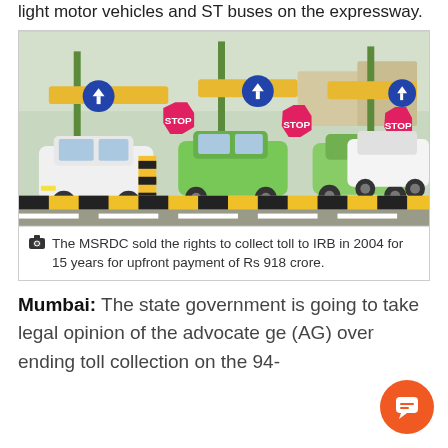light motor vehicles and ST buses on the expressway.
[Figure (photo): Cars and auto-rickshaws queued at a toll plaza on an expressway, with STOP signs visible on red octagonal boards and yellow-black striped barriers in the foreground.]
The MSRDC sold the rights to collect toll to IRB in 2004 for 15 years for upfront payment of Rs 918 crore.
Mumbai: The state government is going to take legal opinion of the advocate ge (AG) over ending toll collection on the 94-